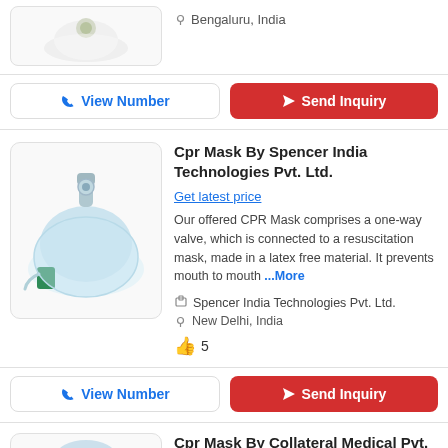[Figure (photo): Partial CPR mask product image at top of page]
Bengaluru, India
View Number | Send Inquiry
[Figure (photo): CPR Mask by Spencer India Technologies Pvt. Ltd. - transparent mask with green valve]
Cpr Mask By Spencer India Technologies Pvt. Ltd.
Get latest price
Our offered CPR Mask comprises a one-way valve, which is connected to a resuscitation mask, made in a latex free material. It prevents mouth to mouth ...More
Spencer India Technologies Pvt. Ltd.
New Delhi, India
👍 5
View Number | Send Inquiry
[Figure (photo): Partial CPR mask image at bottom of page]
Cpr Mask By Collateral Medical Pvt. Ltd.